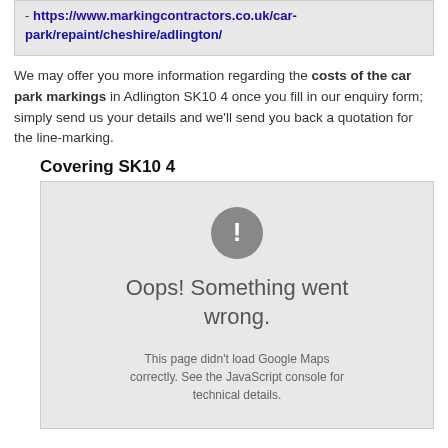- https://www.markingcontractors.co.uk/car-park/repaint/cheshire/adlington/
We may offer you more information regarding the costs of the car park markings in Adlington SK10 4 once you fill in our enquiry form; simply send us your details and we'll send you back a quotation for the line-marking.
Covering SK10 4
[Figure (screenshot): Google Maps error state showing 'Oops! Something went wrong.' with exclamation icon and message: 'This page didn't load Google Maps correctly. See the JavaScript console for technical details.']